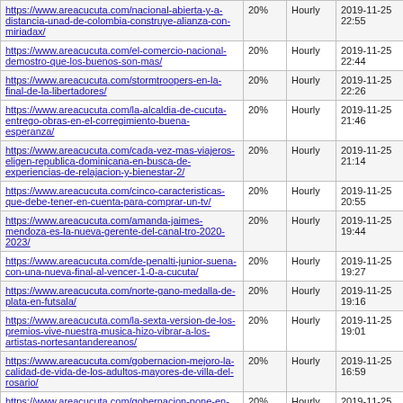| https://www.areacucuta.com/nacional-abierta-y-a-distancia-unad-de-colombia-construye-alianza-con-miriadax/ | 20% | Hourly | 2019-11-25 22:55 |
| https://www.areacucuta.com/el-comercio-nacional-demostro-que-los-buenos-son-mas/ | 20% | Hourly | 2019-11-25 22:44 |
| https://www.areacucuta.com/stormtroopers-en-la-final-de-la-libertadores/ | 20% | Hourly | 2019-11-25 22:26 |
| https://www.areacucuta.com/la-alcaldia-de-cucuta-entrego-obras-en-el-corregimiento-buena-esperanza/ | 20% | Hourly | 2019-11-25 21:46 |
| https://www.areacucuta.com/cada-vez-mas-viajeros-eligen-republica-dominicana-en-busca-de-experiencias-de-relajacion-y-bienestar-2/ | 20% | Hourly | 2019-11-25 21:14 |
| https://www.areacucuta.com/cinco-caracteristicas-que-debe-tener-en-cuenta-para-comprar-un-tv/ | 20% | Hourly | 2019-11-25 20:55 |
| https://www.areacucuta.com/amanda-jaimes-mendoza-es-la-nueva-gerente-del-canal-tro-2020-2023/ | 20% | Hourly | 2019-11-25 19:44 |
| https://www.areacucuta.com/de-penalti-junior-suena-con-una-nueva-final-al-vencer-1-0-a-cucuta/ | 20% | Hourly | 2019-11-25 19:27 |
| https://www.areacucuta.com/norte-gano-medalla-de-plata-en-futsala/ | 20% | Hourly | 2019-11-25 19:16 |
| https://www.areacucuta.com/la-sexta-version-de-los-premios-vive-nuestra-musica-hizo-vibrar-a-los-artistas-nortesantandereanos/ | 20% | Hourly | 2019-11-25 19:01 |
| https://www.areacucuta.com/gobernacion-mejoro-la-calidad-de-vida-de-los-adultos-mayores-de-villa-del-rosario/ | 20% | Hourly | 2019-11-25 16:59 |
| https://www.areacucuta.com/gobernacion-pone-en-funcionamiento-un-ascensor-para-la-comunidad/ | 20% | Hourly | 2019-11-25 16:48 |
| https://www.areacucuta.com/finanzas-vs-navidad/ | 20% | Hourly | 2019-11-25 16:12 |